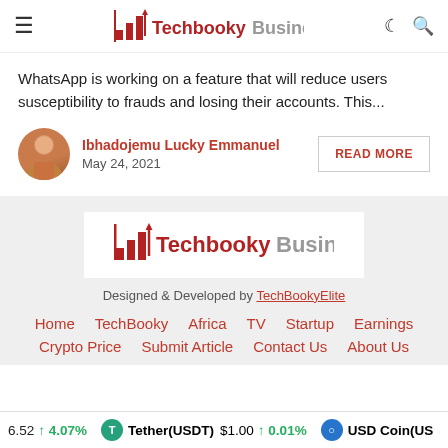Techbooky Business
WhatsApp is working on a feature that will reduce users susceptibility to frauds and losing their accounts. This...
Ibhadojemu Lucky Emmanuel
May 24, 2021
READ MORE
[Figure (logo): Techbooky Business logo in footer]
Designed & Developed by TechBookyElite
Home   TechBooky   Africa   TV   Startup   Earnings
Crypto Price   Submit Article   Contact Us   About Us
6.52  ↑ 4.07%   Tether(USDT)  $1.00  ↑ 0.01%   USD Coin(US...